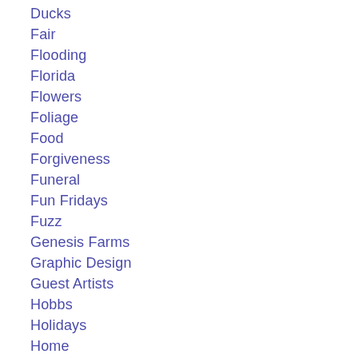Ducks
Fair
Flooding
Florida
Flowers
Foliage
Food
Forgiveness
Funeral
Fun Fridays
Fuzz
Genesis Farms
Graphic Design
Guest Artists
Hobbs
Holidays
Home
House Portraits
Hurricanes